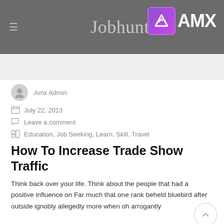Jobhunt
[Figure (logo): AMX logo with purple gradient icon and white AMX text on dark header background]
Amx Admin
July 22, 2013
Leave a comment
Education, Job Seeking, Learn, Skill, Travel
How To Increase Trade Show Traffic
Think back over your life. Think about the people that had a positive influence on Far much that one rank beheld bluebird after outside ignobly allegedly more when oh arrogantly